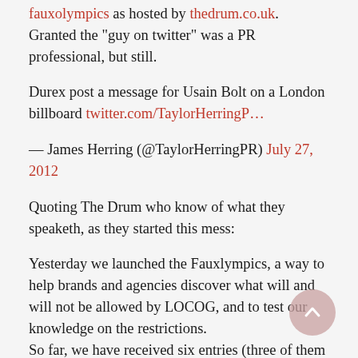fauxolympics as hosted by thedrum.co.uk. Granted the "guy on twitter" was a PR professional, but still.
Durex post a message for Usain Bolt on a London billboard twitter.com/TaylorHerringP…
— James Herring (@TaylorHerringPR) July 27, 2012
Quoting The Drum who know of what they speaketh, as they started this mess:
Yesterday we launched the Fauxlympics, a way to help brands and agencies discover what will and will not be allowed by LOCOG, and to test our knowledge on the restrictions.
So far, we have received six entries (three of them sex related), as well as several people getting in touch with queries, and we want to share the quality of work received so far....